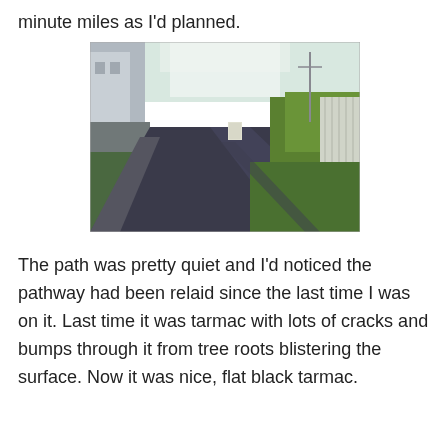minute miles as I'd planned.
[Figure (photo): A paved path or cycle track running into the distance. On the left is a wall and a building. On the right is a fence and green vegetation. The path surface is dark tarmac.]
The path was pretty quiet and I'd noticed the pathway had been relaid since the last time I was on it. Last time it was tarmac with lots of cracks and bumps through it from tree roots blistering the surface. Now it was nice, flat black tarmac.